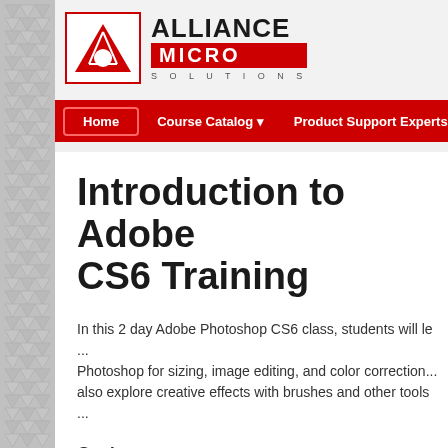[Figure (logo): Alliance Micro Solutions logo with red triangle icon and company name]
Home | Course Catalog | Product Support Experts | Servic...
Introduction to Adobe CS6 Training
In this 2 day Adobe Photoshop CS6 class, students will l... Photoshop for sizing, image editing, and color correction... also explore creative effects with brushes and other tools...
Goals